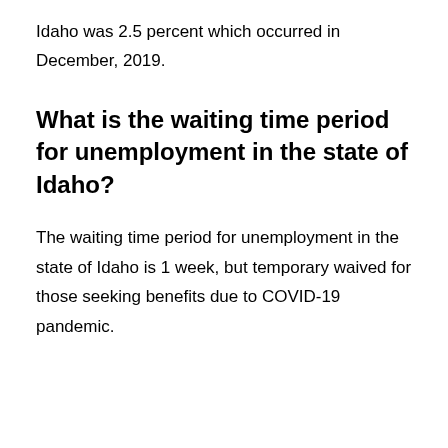Idaho was 2.5 percent which occurred in December, 2019.
What is the waiting time period for unemployment in the state of Idaho?
The waiting time period for unemployment in the state of Idaho is 1 week, but temporary waived for those seeking benefits due to COVID-19 pandemic.